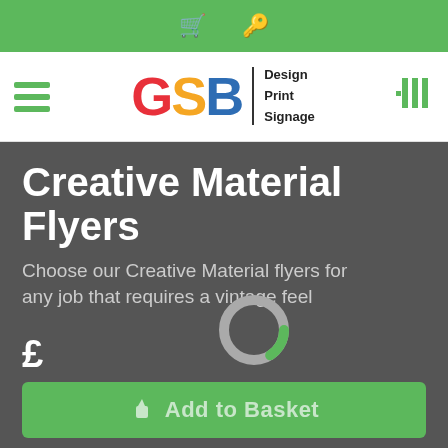Navigation bar with basket and key icons
[Figure (logo): GSB Design Print Signage logo with hamburger menu and table view icon]
Creative Material Flyers
Choose our Creative Material flyers for any job that requires a vintage feel
£
Add to Basket